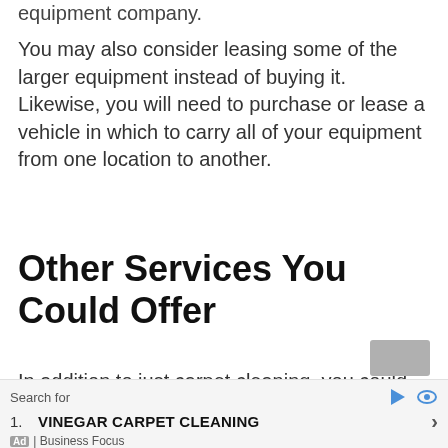equipment company.
You may also consider leasing some of the larger equipment instead of buying it. Likewise, you will need to purchase or lease a vehicle in which to carry all of your equipment from one location to another.
Other Services You Could Offer
In addition to just carpet cleaning, you could expand your business – and ultimately, your profits – by offering additional services. Some of the